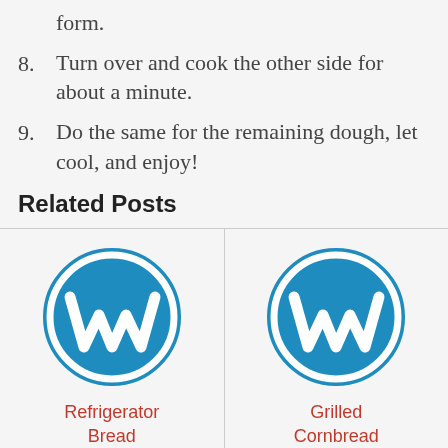form.
8. Turn over and cook the other side for about a minute.
9. Do the same for the remaining dough, let cool, and enjoy!
Related Posts
[Figure (logo): WordPress logo (blue circle with W)]
Refrigerator Bread
[Figure (logo): WordPress logo (blue circle with W)]
Grilled Cornbread
[Figure (logo): WordPress logo (blue circle with W), partially visible]
[Figure (logo): WordPress logo (blue circle with W), partially visible]